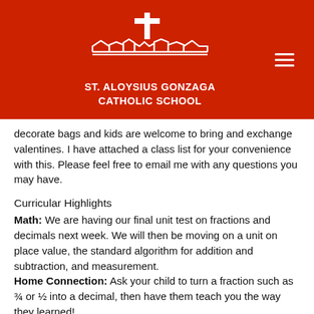[Figure (logo): St. Aloysius Gonzaga Catholic School logo with cross and building silhouette in white on red background]
decorate bags and kids are welcome to bring and exchange valentines. I have attached a class list for your convenience with this. Please feel free to email me with any questions you may have.
Curricular Highlights
Math: We are having our final unit test on fractions and decimals next week. We will then be moving on a unit on place value, the standard algorithm for addition and subtraction, and measurement.
Home Connection: Ask your child to turn a fraction such as ¾ or ½ into a decimal, then have them teach you the way they learned!
Language Arts: We will be starting the novel Hatchet. It tells the story of 13-year-old Brian Robeson and his successful attempt to survive alone in the wilderness. In class we will make a list of only items we would bring with us in our survival kits. We will be reading this book in class; however, students are encouraged to re-read